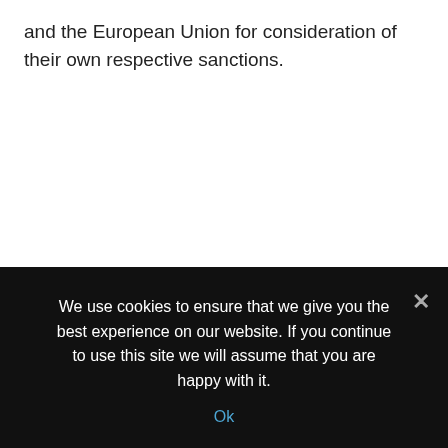and the European Union for consideration of their own respective sanctions.
We use cookies to ensure that we give you the best experience on our website. If you continue to use this site we will assume that you are happy with it.
Ok